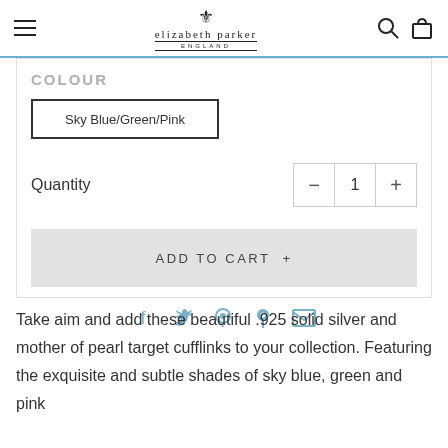elizabeth parker ENGLAND
COLOUR
Sky Blue/Green/Pink
Quantity
ADD TO CART +
[Figure (other): Social sharing icons: Facebook, Twitter, Pinterest, Fancy, Email]
Take aim and add these beautiful .925 solid silver and mother of pearl target cufflinks to your collection. Featuring the exquisite and subtle shades of sky blue, green and pink